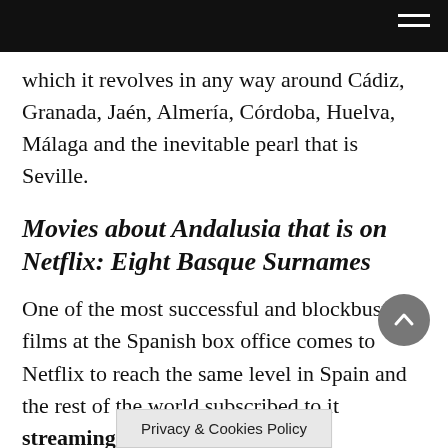which it revolves in any way around Cádiz, Granada, Jaén, Almería, Córdoba, Huelva, Málaga and the inevitable pearl that is Seville.
Movies about Andalusia that is on Netflix: Eight Basque Surnames
One of the most successful and blockbuster films at the Spanish box office comes to Netflix to reach the same level in Spain and the rest of the world subscribed to it streaming platform.
It is the story of Rafa, a young Andalusian who had never left Seville until he met Amaia, a young Basque who…